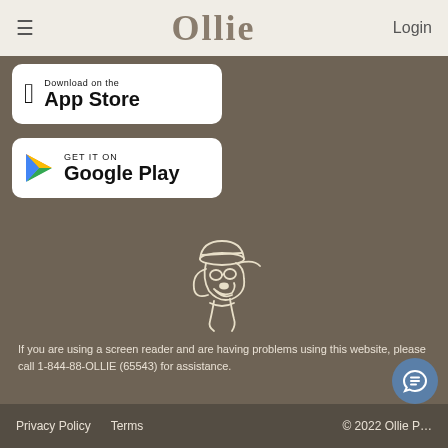☰  Ollie  Login
[Figure (screenshot): Download on the App Store button - white rounded rectangle with Apple logo and text 'Download on the App Store']
[Figure (screenshot): Get it on Google Play button - white rounded rectangle with Google Play triangle logo and text 'GET IT ON Google Play']
[Figure (illustration): Line drawing illustration of a stylized dog wearing a hat with sunglasses, rendered in cream/beige color on dark brown background]
If you are using a screen reader and are having problems using this website, please call 1-844-88-OLLIE (65543) for assistance.
Privacy Policy   Terms   © 2022 Ollie P...